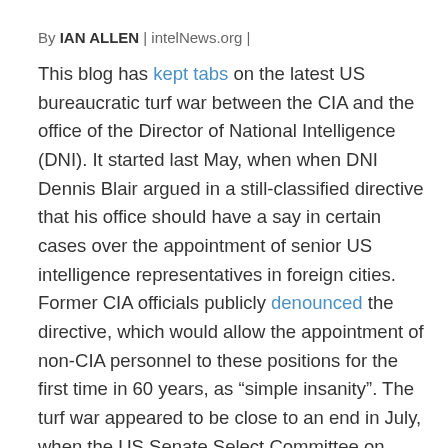By IAN ALLEN | intelNews.org |
This blog has kept tabs on the latest US bureaucratic turf war between the CIA and the office of the Director of National Intelligence (DNI). It started last May, when when DNI Dennis Blair argued in a still-classified directive that his office should have a say in certain cases over the appointment of senior US intelligence representatives in foreign cities. Former CIA officials publicly denounced the directive, which would allow the appointment of non-CIA personnel to these positions for the first time in 60 years, as “simple insanity”. The turf war appeared to be close to an end in July, when the US Senate Select Committee on Intelligence came out in support of the DNI, arguing that “some locations may give rise to circumstances where th[e CIA station chief’s] responsibility is best met by an official